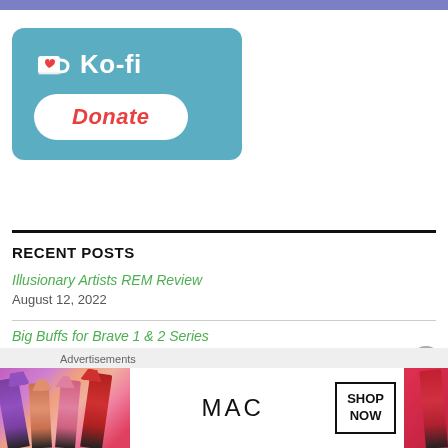[Figure (logo): Ko-fi Donate button with teal background, coffee cup with heart icon, Ko-fi text, and white pill-shaped Donate button with red italic text]
RECENT POSTS
Illusionary Artists REM Review
August 12, 2022
Big Buffs for Brave 1 & 2 Series
[Figure (screenshot): MAC Cosmetics advertisement showing lipsticks, MAC logo, and SHOP NOW button]